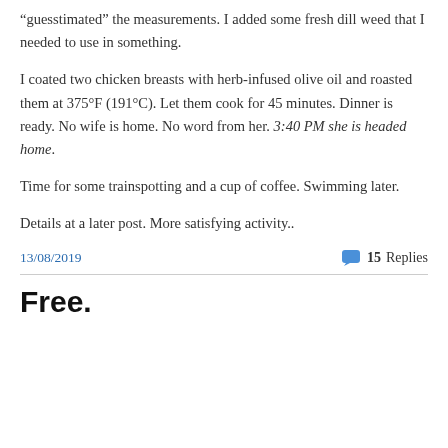“guesstimated” the measurements. I added some fresh dill weed that I needed to use in something.
I coated two chicken breasts with herb-infused olive oil and roasted them at 375°F (191°C). Let them cook for 45 minutes. Dinner is ready. No wife is home. No word from her. 3:40 PM she is headed home.
Time for some trainspotting and a cup of coffee. Swimming later.
Details at a later post. More satisfying activity..
13/08/2019   15 Replies
Free.